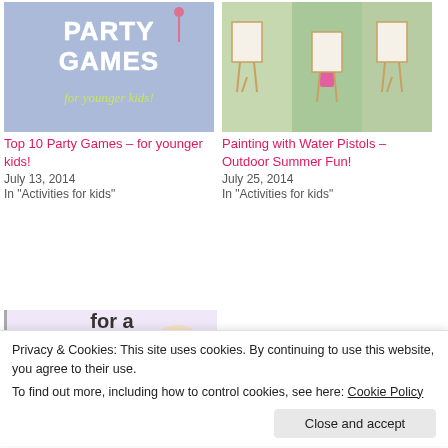[Figure (photo): Thumbnail image: blue background with text 'PARTY GAMES for younger kids!' in white and yellow letters]
Top 10 Party Games – for younger kids!
July 13, 2014
In "Activities for kids"
[Figure (photo): Thumbnail image: outdoor scene with children's easels on grass, child painting]
Painting with Water Pistols – Outdoor Summer Fun!
July 25, 2014
In "Activities for kids"
[Figure (photo): Partial thumbnail: colorful text on balloon background reading 'for a Fun and Stress-free Summer!']
Privacy & Cookies: This site uses cookies. By continuing to use this website, you agree to their use.
To find out more, including how to control cookies, see here: Cookie Policy
tagged with birthday party, party games, water, water